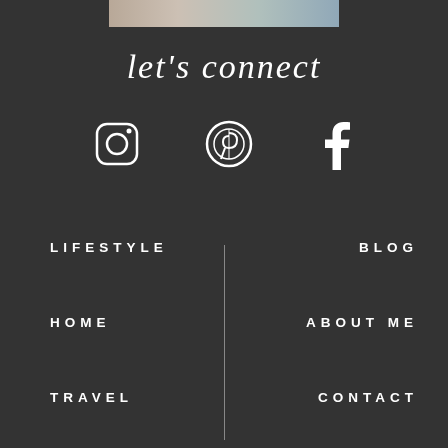[Figure (photo): Top image strip showing a beach/lifestyle scene partially visible]
let's connect
[Figure (infographic): Three social media icons: Instagram, Pinterest, Facebook in white on dark background]
LIFESTYLE
HOME
TRAVEL
BLOG
ABOUT ME
CONTACT